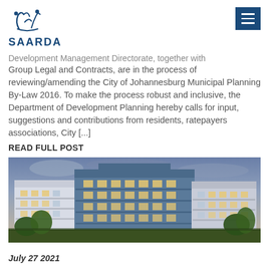SAARDA
Development Management Directorate, together with Group Legal and Contracts, are in the process of reviewing/amending the City of Johannesburg Municipal Planning By-Law 2016. To make the process robust and inclusive, the Department of Development Planning hereby calls for input, suggestions and contributions from residents, ratepayers associations, City [...]
READ FULL POST
[Figure (photo): Exterior rendering of a modern multi-storey residential apartment building with blue and grey facade, balconies, and landscaping in foreground under a dramatic cloudy sky.]
July 27 2021